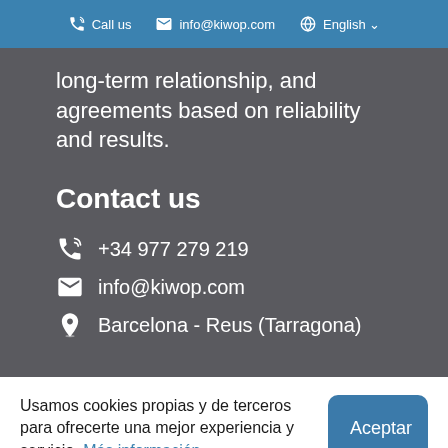Call us   info@kiwop.com   English
long-term relationship, and agreements based on reliability and results.
Contact us
+34 977 279 219
info@kiwop.com
Barcelona - Reus (Tarragona)
Usamos cookies propias y de terceros para ofrecerte una mejor experiencia y servicio. Más información.